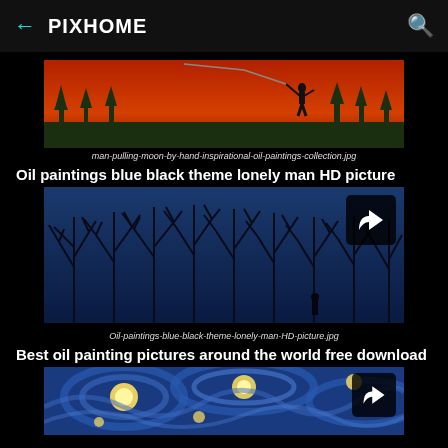← PIXHOME 🔍
[Figure (illustration): Oil painting of a man silhouette pulling a line against a fiery red-orange sky with dark tree silhouettes at bottom]
man-pulling-moon-by-hand-inspirational-oil-paintings-collection.jpg
Oil paintings blue black theme lonely man HD picture
[Figure (illustration): Oil painting of bare black trees silhouetted against a deep blue sky with a small lone figure standing in the distance, with a share button overlay]
Oil-paintings-blue-black-theme-lonely-man-HD-picture.jpg
Best oil painting pictures around the world free download
[Figure (illustration): Partial view of a Van Gogh Starry Night style oil painting with swirling blue patterns and yellow stars, with a share button overlay]